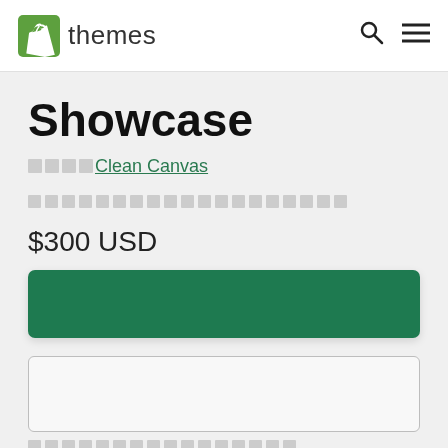Shopify themes
Showcase
□□□□ Clean Canvas
[placeholder text blocks]
$300 USD
[Figure (other): Green buy/purchase button]
[Figure (other): Secondary outline button/input box]
[placeholder text row]